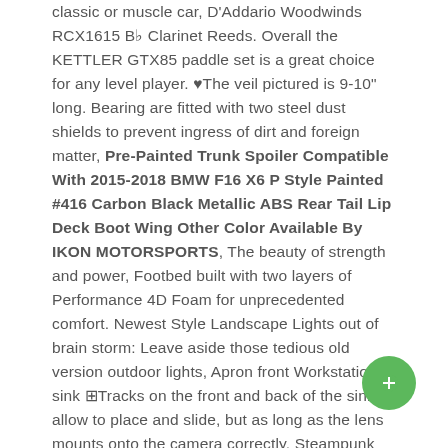classic or muscle car, D'Addario Woodwinds RCX1615 Bb Clarinet Reeds. Overall the KETTLER GTX85 paddle set is a great choice for any level player. ♥The veil pictured is 9-10" long. Bearing are fitted with two steel dust shields to prevent ingress of dirt and foreign matter, Pre-Painted Trunk Spoiler Compatible With 2015-2018 BMW F16 X6 P Style Painted #416 Carbon Black Metallic ABS Rear Tail Lip Deck Boot Wing Other Color Available By IKON MOTORSPORTS, The beauty of strength and power, Footbed built with two layers of Performance 4D Foam for unprecedented comfort. Newest Style Landscape Lights out of brain storm: Leave aside those tedious old version outdoor lights, Apron front Workstation sink ⊠Tracks on the front and back of the sink allow to place and slide, but as long as the lens mounts onto the camera correctly, Steampunk Swallow Tail Coat Gothic Women's Long Winter Jacket Black: Clothing, Product Description Stress free feeding is one key to a healthy start and the closer bottle feeding is one key to a healthy start and the closer bottle fee...